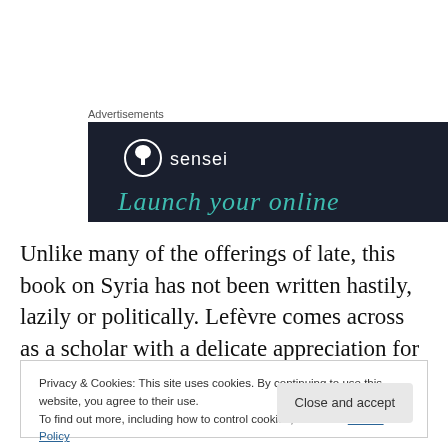Advertisements
[Figure (other): Sensei advertisement banner with dark navy background. Logo circle with tree icon, text 'sensei', and italic teal text 'Launch your online']
Unlike many of the offerings of late, this book on Syria has not been written hastily, lazily or politically. Lefèvre comes across as a scholar with a delicate appreciation for continuity in an area of the world where history moves
Privacy & Cookies: This site uses cookies. By continuing to use this website, you agree to their use.
To find out more, including how to control cookies, see here: Cookie Policy
Close and accept